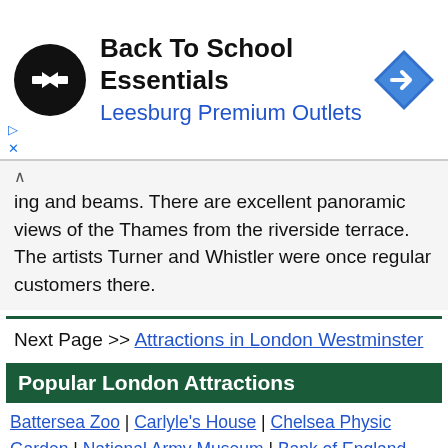[Figure (other): Advertisement banner for Back To School Essentials at Leesburg Premium Outlets, featuring a black circular logo with arrow symbol and a blue diamond-shaped navigation icon]
ing and beams. There are excellent panoramic views of the Thames from the riverside terrace. The artists Turner and Whistler were once regular customers there.
Next Page >> Attractions in London Westminster
Popular London Attractions
Battersea Zoo | Carlyle's House | Chelsea Physic Garden | National Army Museum | Bank of England Museum | Dr Johnson's House | Clock Museum | Museum of London | St Paul's | Tower Bridge | Tower of London | Wesley's House | Cutty Sark | Fan Museum | Gipsy Moth | Greenwich Park | National Maritime Museum | Royal Naval College | Royal Observatory | Baden-Powell Museum | Kensington Palace | Natural History Museum | Science Museum | Victoria & Albert Museum | London Aquarium | London Eye | Florence